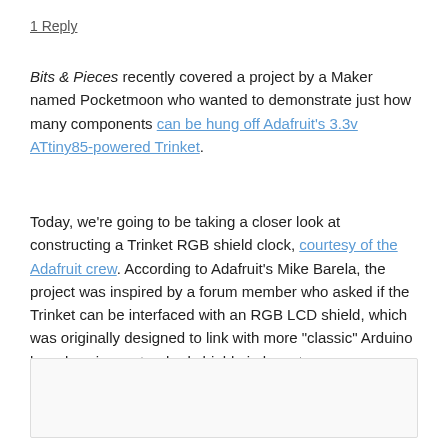1 Reply
Bits & Pieces recently covered a project by a Maker named Pocketmoon who wanted to demonstrate just how many components can be hung off Adafruit's 3.3v ATtiny85-powered Trinket.
Today, we're going to be taking a closer look at constructing a Trinket RGB shield clock, courtesy of the Adafruit crew. According to Adafruit's Mike Barela, the project was inspired by a forum member who asked if the Trinket can be interfaced with an RGB LCD shield, which was originally designed to link with more "classic" Arduino boards using a standard shield pin layout.
[Figure (other): Blank image/content box at the bottom of the page]